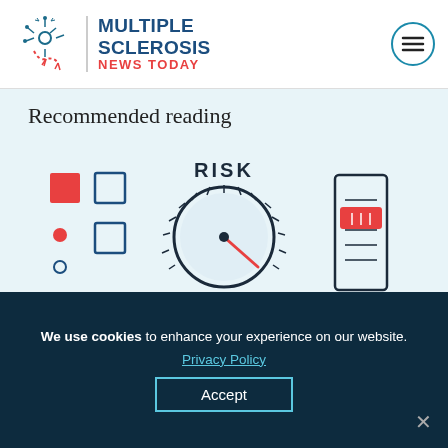[Figure (logo): Multiple Sclerosis News Today logo with snowflake/neuron icon and hamburger menu button]
Recommended reading
[Figure (illustration): Risk assessment illustration showing a dial/knob labeled RISK with a red pointer, checkboxes with red filled square, and a slider with red handle]
We use cookies to enhance your experience on our website.
Privacy Policy
Accept